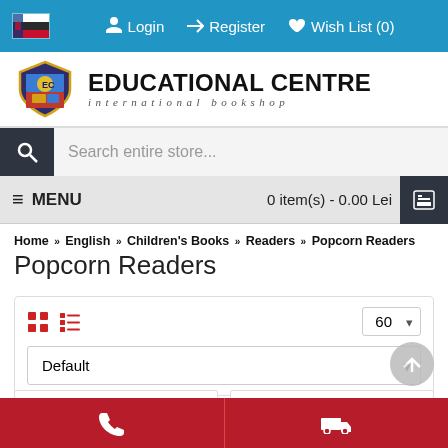Login → Register ♥ Wish List (0)
[Figure (logo): Educational Centre international bookshop logo with shield emblem]
Search entire store...
≡ MENU   0 item(s) - 0.00 Lei
Home » English » Children's Books » Readers » Popcorn Readers
Popcorn Readers
60  Default
[Figure (screenshot): Two product cards with discount badges -35% and -45%]
Phone contact | Delivery contact